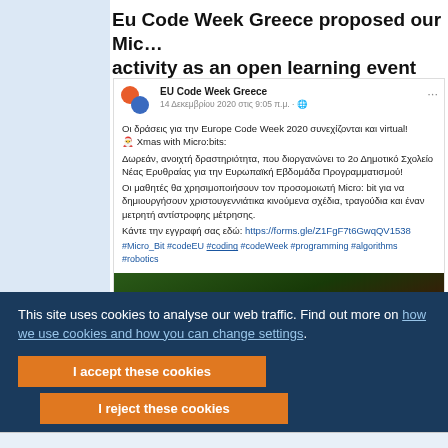Eu Code Week Greece proposed our Micro:bit activity as an open learning event
[Figure (screenshot): Facebook post by EU Code Week Greece dated 14 December 2020 with Greek text about Micro:bit Xmas activity]
December 2020
This site uses cookies to analyse our web traffic. Find out more on how we use cookies and how you can change settings.
I accept these cookies
I reject these cookies